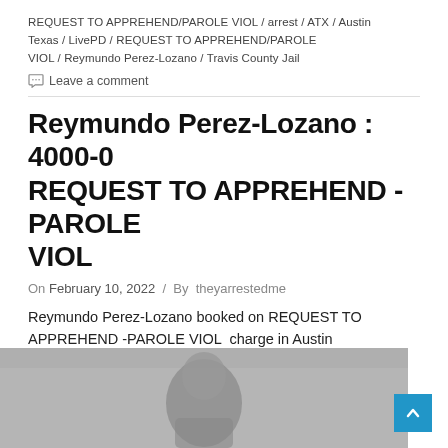REQUEST TO APPREHEND/PAROLE VIOL / arrest / ATX / Austin Texas / LivePD / REQUEST TO APPREHEND/PAROLE VIOL / Reymundo Perez-Lozano / Travis County Jail
💬 Leave a comment
Reymundo Perez-Lozano : 4000-0 REQUEST TO APPREHEND -PAROLE VIOL
On February 10, 2022 / By theyarrestedme
Reymundo Perez-Lozano booked on REQUEST TO APPREHEND -PAROLE VIOL  charge in Austin
[Figure (photo): Grayscale mugshot or arrest photo of Reymundo Perez-Lozano, partially visible at the bottom of the page]